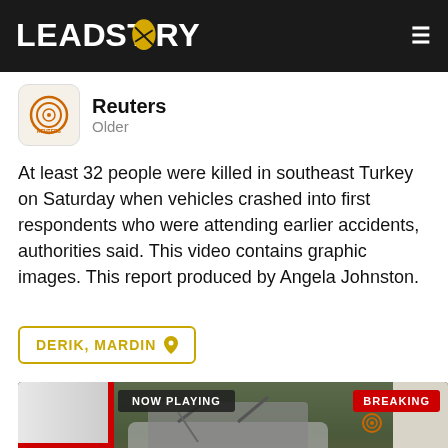LEADSTORY
Reuters
Older
At least 32 people were killed in southeast Turkey on Saturday when vehicles crashed into first respondents who were attending earlier accidents, authorities said. This video contains graphic images. This report produced by Angela Johnston.
DERIK, MARDIN
[Figure (photo): Video thumbnail showing a crash scene in southeast Turkey with an ambulance on the left, a wrecked bus in the center, and a white truck on the right. Overlaid badges read NOW PLAYING and BREAKING.]